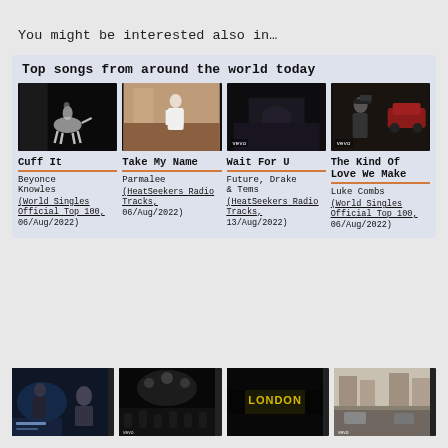You might be interested also in…
Top songs from around the world today
[Figure (screenshot): Music video thumbnail for Cuff It - dark background with white horse]
Cuff It
Beyonce Knowles
(World Singles Official Top 100, 06/Aug/2022)
[Figure (screenshot): Music video thumbnail for Take My Name - indoor scene with person in white shirt]
Take My Name
Parmalee
(HeatSeekers Radio Tracks, 06/Aug/2022)
[Figure (screenshot): Music video thumbnail for Wait For U - dark indoor scene with vevo logo]
Wait For U
Future, Drake & Tems
(HeatSeekers Radio Tracks, 13/Aug/2022)
[Figure (screenshot): Music video thumbnail for The Kind Of Love We Make - outdoor scene with car and vevo logo]
The Kind Of Love We Make
Luke Combs
(World Singles Official Top 100, 06/Aug/2022)
[Figure (screenshot): Music video thumbnail - person indoors with blue lighting]
[Figure (screenshot): Music video thumbnail - dark outdoor concert scene with vevo logo]
[Figure (screenshot): Music video thumbnail - yellow text on dark background]
[Figure (screenshot): Music video thumbnail - street scene with vevo logo]